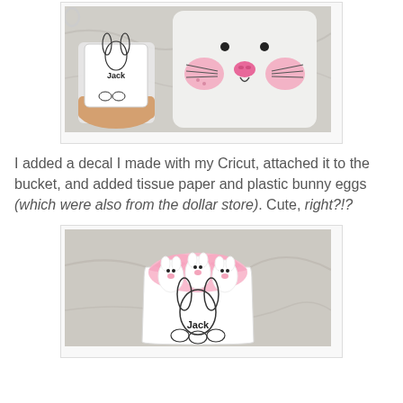[Figure (photo): A hand holding a small white bucket decorated with a bunny decal labeled 'Jack', next to a large white ceramic bunny container with pink cheeks and cat-like face, on a marble-patterned surface.]
I added a decal I made with my Cricut, attached it to the bucket, and added tissue paper and plastic bunny eggs (which were also from the dollar store). Cute, right?!?
[Figure (photo): A white bucket labeled 'Jack' with a bunny ears decal, filled with pink tissue paper and three small white plastic bunny eggs, sitting on a marble surface.]